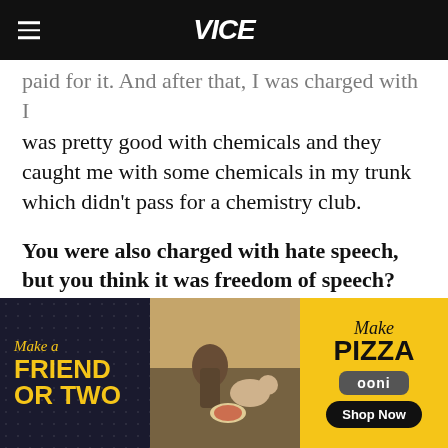VICE
paid for it. And after that, I was charged with I was pretty good with chemicals and they caught me with some chemicals in my trunk which didn't pass for a chemistry club.
You were also charged with hate speech, but you think it was freedom of speech?
Totally. There's no such thing as hate speech. Please – if I can't say I don't like you, then I
[Figure (infographic): Advertisement banner for Ooni pizza ovens. Left dark panel reads 'Make a FRIEND OR TWO' in yellow text with speckled background. Center shows photo of people and dogs at a picnic with a pizza. Right yellow panel reads 'Make Pizza' with Ooni brand label and 'Shop Now' button.]